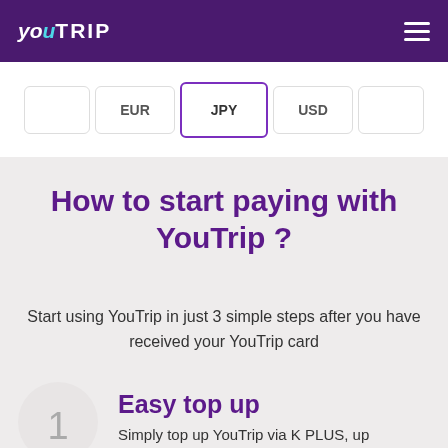YouTrip
[Figure (screenshot): Currency options strip showing EUR, JPY, USD and other currency boxes, with JPY highlighted]
How to start paying with YouTrip ?
Start using YouTrip in just 3 simple steps after you have received your YouTrip card
Easy top up
Simply top up YouTrip via K PLUS, up